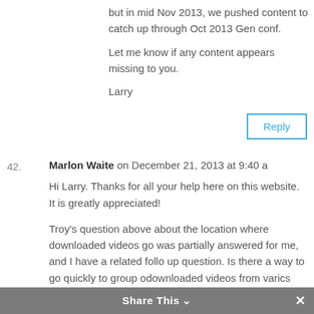but in mid Nov 2013, we pushed content to catch up through Oct 2013 Gen conf.
Let me know if any content appears missing to you.
Larry
Reply
42. Marlon Waite on December 21, 2013 at 9:40 a
Hi Larry. Thanks for all your help here on this website. It is greatly appreciated!
Troy's question above about the location where downloaded videos go was partially answered for me, and I have a related follow up question. Is there a way to go quickly to group of downloaded videos from various
Share This